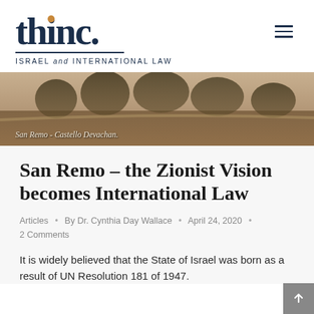[Figure (logo): thinc. logo with tagline ISRAEL and INTERNATIONAL LAW]
[Figure (photo): Sepia historical photo of San Remo - Castello Devachan with trees and landscape, caption reads San Remo - Castello Devachan.]
San Remo – the Zionist Vision becomes International Law
Articles · By Dr. Cynthia Day Wallace · April 24, 2020 · 2 Comments
It is widely believed that the State of Israel was born as a result of UN Resolution 181 of 1947. The truth is that the legal rights of the state...